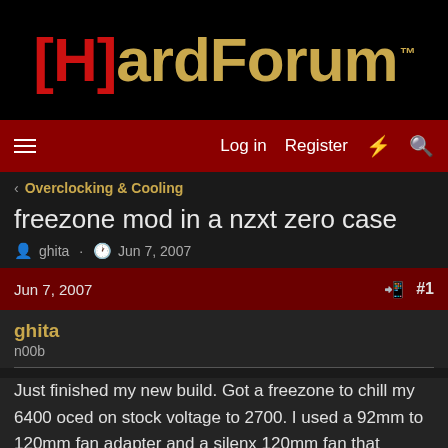[Figure (logo): HardForum logo with [H] in red and ardForum in gold on black background]
Log in  Register
< Overclocking & Cooling
freezone mod in a nzxt zero case
ghita · Jun 7, 2007
Jun 7, 2007  #1
ghita
n00b
Just finished my new build. Got a freezone to chill my 6400 oced on stock voltage to 2700. I used a 92mm to 120mm fan adapter and a silenx 120mm fan that according to its specs pushes 90 cfm at 18 dba😨 Although i got some good temps (27 idle and 40 orthos load) i want to cool my core even